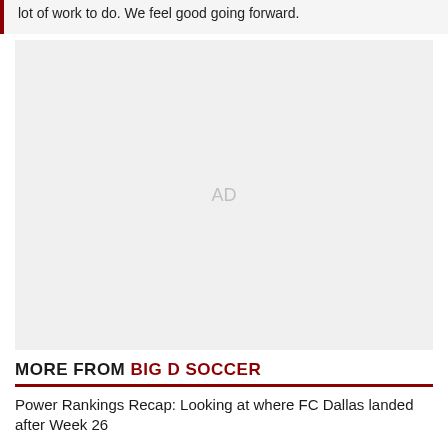lot of work to do. We feel good going forward.
[Figure (other): Advertisement placeholder block with 'AD' text centered in gray area]
MORE FROM BIG D SOCCER
Power Rankings Recap: Looking at where FC Dallas landed after Week 26
Tuesday Links: FC Dallas notes, Cincinnati & Brandon